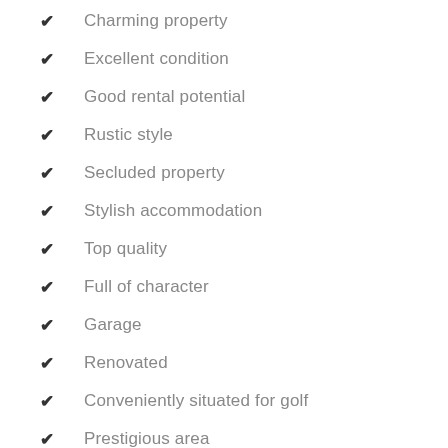Spacious accommodation
Charming property
Excellent condition
Good rental potential
Rustic style
Secluded property
Stylish accommodation
Top quality
Full of character
Garage
Renovated
Conveniently situated for golf
Prestigious area